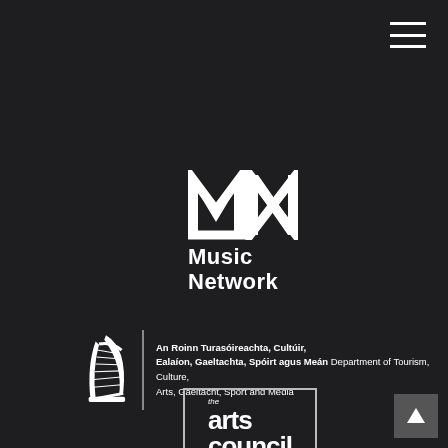[Figure (logo): Hamburger menu icon (three horizontal white lines) in top right corner]
[Figure (logo): Music Network logo: stylized MN letterform in white above the words Music Network in bold white text]
[Figure (logo): Irish government harp symbol with vertical divider line and Department of Tourism, Culture, Arts, Gaeltacht, Sport and Media bilingual text]
[Figure (logo): The Arts Council / An Chomhairle Ealaíon logo in white text within a white-bordered rectangle]